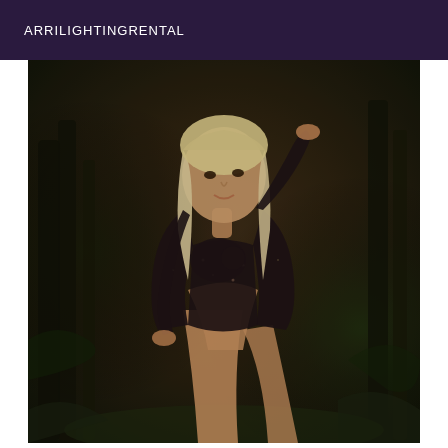ARRILIGHTINGRENTAL
[Figure (photo): A blonde woman in a black sheer long-sleeve bodysuit posing in a dark forest setting, with trees and foliage in the background.]